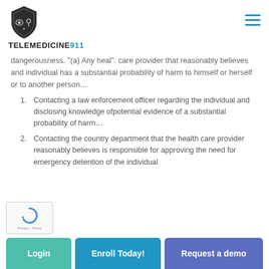TELEMEDICINE911
dangerousness. "(a) Any heal". care provider that reasonably believes and individual has a substantial probability of harm to himself or herself or to another person...
Contacting a law enforcement officer regarding the individual and disclosing knowledge ofpotential evidence of a substantial probability of harm...
Contacting the country department that the health care provider  reasonably believes is responsible for approving the need for emergency detention of the individual